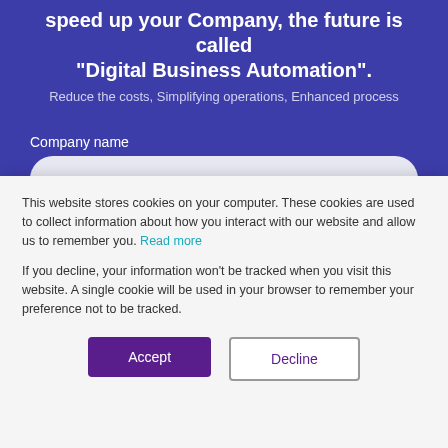speed up your Company, the future is called "Digital Business Automation".
Reduce the costs, Simplifying operations, Enhanced process
Company name
First name
This website stores cookies on your computer. These cookies are used to collect information about how you interact with our website and allow us to remember you. Read more
If you decline, your information won't be tracked when you visit this website. A single cookie will be used in your browser to remember your preference not to be tracked.
Accept
Decline